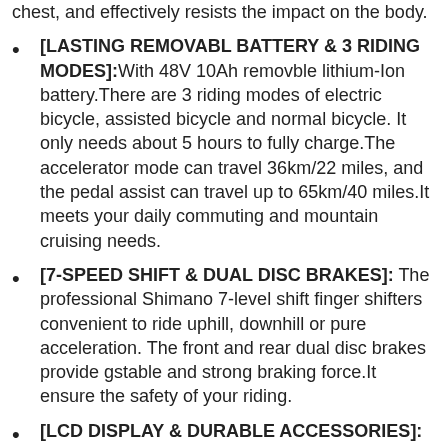chest, and effectively resists the impact on the body.
[LASTING REMOVABL BATTERY & 3 RIDING MODES]:With 48V 10Ah removble lithium-Ion battery.There are 3 riding modes of electric bicycle, assisted bicycle and normal bicycle. It only needs about 5 hours to fully charge.The accelerator mode can travel 36km/22 miles, and the pedal assist can travel up to 65km/40 miles.It meets your daily commuting and mountain cruising needs.
[7-SPEED SHIFT & DUAL DISC BRAKES]: The professional Shimano 7-level shift finger shifters convenient to ride uphill, downhill or pure acceleration. The front and rear dual disc brakes provide gstable and strong braking force.It ensure the safety of your riding.
[LCD DISPLAY & DURABLE ACCESSORIES]: Equipped with HD smart meter display, including 5 speed display, battery power display, mileage display. Durable double-layer aluminum alloy rims and shock-absorbing frame ensure smooth driving even on rough roads. The fat tires tire is non-slip and wear-resistant, and has strong grip and puncture resistance to ensure safe driving.The max load weight is 265 lbs/120 kg.
[EASY TO INSTALL]:The bicycle arrives 85% assembled. With detailed instructions and installation